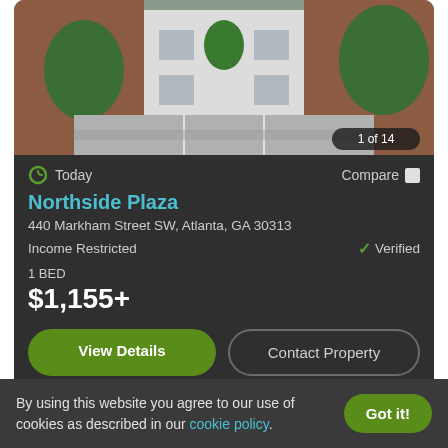[Figure (photo): Exterior photo of Northside Plaza apartment building showing a white building with brick accents, trees, and a parking area. Counter badge shows '1 of 14'.]
Today
Compare
Northside Plaza
440 Markham Street SW, Atlanta, GA 30313
Income Restricted
Verified
1 BED
$1,155+
View Details
Contact Property
By using this website you agree to our use of cookies as described in our cookie policy.
Got it!